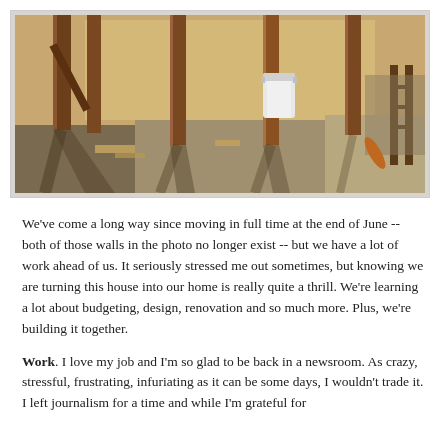[Figure (photo): Interior construction photo showing a room under renovation with exposed wooden wall studs, plywood subfloor, a white trash can in the background, building materials scattered on the floor, and shadows from the studs casting across the floor.]
We've come a long way since moving in full time at the end of June -- both of those walls in the photo no longer exist -- but we have a lot of work ahead of us. It seriously stressed me out sometimes, but knowing we are turning this house into our home is really quite a thrill. We're learning a lot about budgeting, design, renovation and so much more. Plus, we're building it together.
Work. I love my job and I'm so glad to be back in a newsroom. As crazy, stressful, frustrating, infuriating as it can be some days, I wouldn't trade it. I left journalism for a time and while I'm grateful for